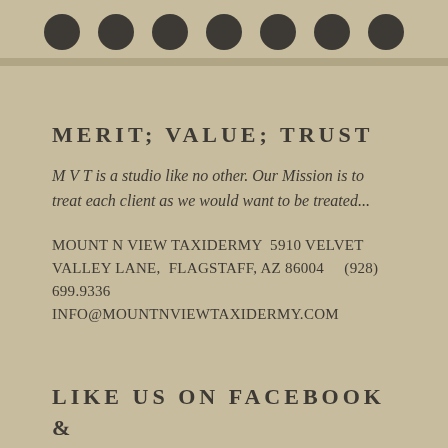[Figure (illustration): Row of dark circular dots/bullets along the top of the page]
MERIT; VALUE; TRUST
M V T is a studio like no other.  Our Mission is to treat each client as we would want to be treated...
MOUNT N VIEW TAXIDERMY  5910 VELVET VALLEY LANE,  FLAGSTAFF, AZ 86004     (928) 699.9336  INFO@MOUNTNVIEWTAXIDERMY.COM
LIKE US ON FACEBOOK & INSTAGRAM @ MOUNT N VIEW TAXIDERMY